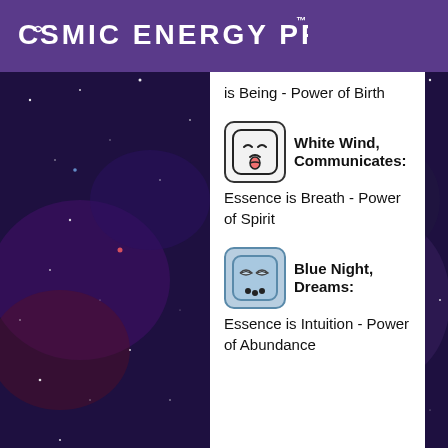COSMIC ENERGY PROFILE™
is Being - Power of Birth
[Figure (illustration): White Wind glyph icon - rounded square with squinting eyes and tongue sticking out]
White Wind, Communicates: Essence is Breath - Power of Spirit
[Figure (illustration): Blue Night glyph icon - rounded square with blue background, droopy eyes and three dots at bottom]
Blue Night, Dreams: Essence is Intuition - Power of Abundance